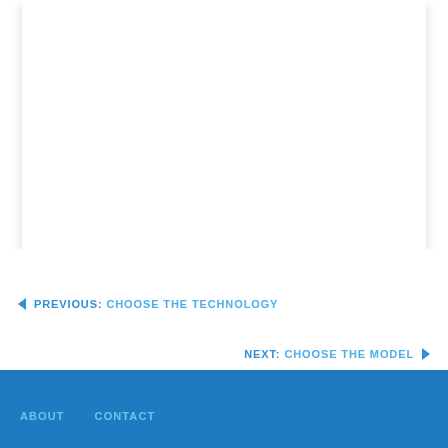< PREVIOUS: CHOOSE THE TECHNOLOGY
NEXT: CHOOSE THE MODEL >
ABOUT   CONTACT